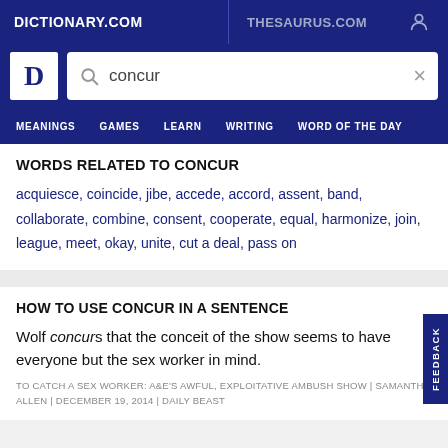DICTIONARY.COM | THESAURUS.COM
[Figure (screenshot): Dictionary.com logo D and search bar with 'concur' typed in]
MEANINGS  GAMES  LEARN  WRITING  WORD OF THE DAY
WORDS RELATED TO CONCUR
acquiesce, coincide, jibe, accede, accord, assent, band, collaborate, combine, consent, cooperate, equal, harmonize, join, league, meet, okay, unite, cut a deal, pass on
HOW TO USE CONCUR IN A SENTENCE
Wolf concurs that the conceit of the show seems to have everyone but the sex worker in mind.
TO CATCH A SEX WORKER: A&E'S AWFUL, EXPLOITATIVE AMBUSH SHOW | SAMANTHA ALLEN | DECEMBER 19, 2014 | DAILY BEAST